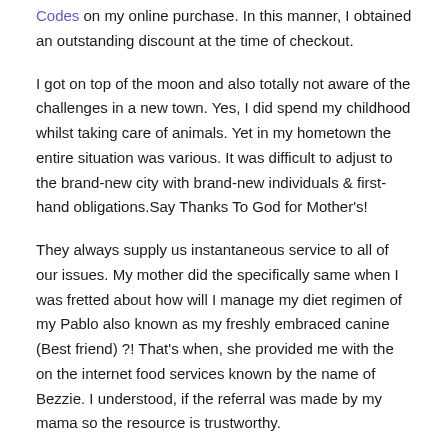Codes on my online purchase. In this manner, I obtained an outstanding discount at the time of checkout.
I got on top of the moon and also totally not aware of the challenges in a new town. Yes, I did spend my childhood whilst taking care of animals. Yet in my hometown the entire situation was various. It was difficult to adjust to the brand-new city with brand-new individuals & first-hand obligations.Say Thanks To God for Mother's!
They always supply us instantaneous service to all of our issues. My mother did the specifically same when I was fretted about how will I manage my diet regimen of my Pablo also known as my freshly embraced canine (Best friend) ?! That's when, she provided me with the on the internet food services known by the name of Bezzie. I understood, if the referral was made by my mama so the resource is trustworthy.
Customizable Meal Plans: